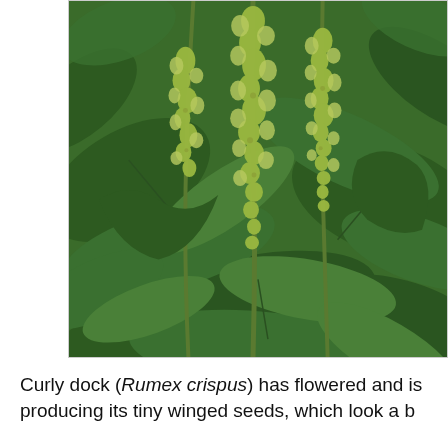[Figure (photo): Close-up photograph of Curly dock (Rumex crispus) plants showing tall flowering/seeding spikes with small greenish-yellow clustered seeds, surrounded by large dark green leaves.]
Curly dock (Rumex crispus) has flowered and is producing its tiny winged seeds, which look a b...